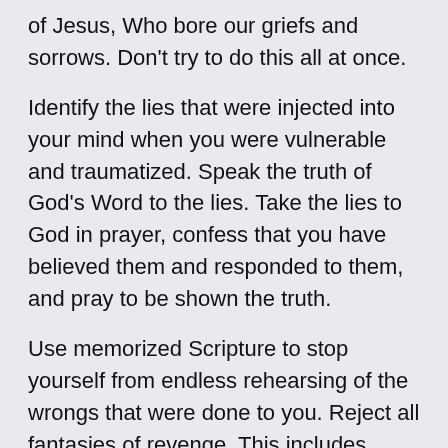of Jesus, Who bore our griefs and sorrows. Don't try to do this all at once.
Identify the lies that were injected into your mind when you were vulnerable and traumatized. Speak the truth of God's Word to the lies. Take the lies to God in prayer, confess that you have believed them and responded to them, and pray to be shown the truth.
Use memorized Scripture to stop yourself from endless rehearsing of the wrongs that were done to you. Reject all fantasies of revenge. This includes fantasies of “making them realize” what they did to you, because that wish is often revenge in pious disguise.
Surrender the “power rush” that anger gives you. That emotion is seductive and deceptive.